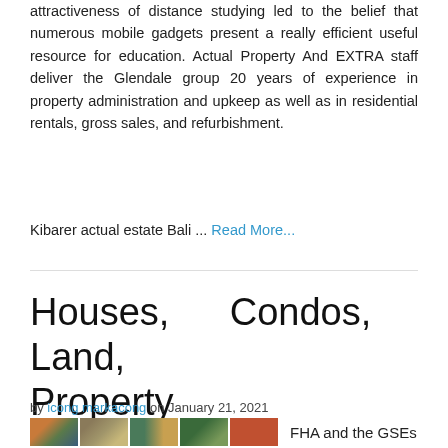attractiveness of distance studying led to the belief that numerous mobile gadgets present a really efficient useful resource for education. Actual Property And EXTRA staff deliver the Glendale group 20 years of experience in property administration and upkeep as well as in residential rentals, gross sales, and refurbishment.
Kibarer actual estate Bali ... Read More...
Houses, Condos, Land, Property
by icong markacong on January 21, 2021
[Figure (photo): Strip of small thumbnail images showing real estate photos]
FHA and the GSEs